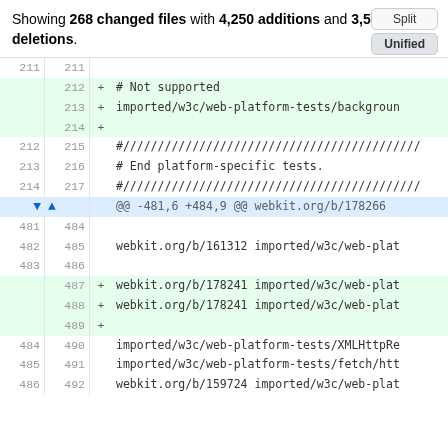Showing 268 changed files with 4,250 additions and 3,509 deletions.
| old | new | marker | code |
| --- | --- | --- | --- |
| 211 | 211 |  |  |
|  | 212 | + | # Not supported |
|  | 213 | + | imported/w3c/web-platform-tests/backgroun... |
|  | 214 | + |  |
| 212 | 215 |  | #///////////////////////////////////////////... |
| 213 | 216 |  | # End platform-specific tests. |
| 214 | 217 |  | #///////////////////////////////////////////... |
| (expand) |  |  | @@ -481,6 +484,9 @@ webkit.org/b/178266 |
| 481 | 484 |  |  |
| 482 | 485 |  | webkit.org/b/161312 imported/w3c/web-plat... |
| 483 | 486 |  |  |
|  | 487 | + | webkit.org/b/178241 imported/w3c/web-plat... |
|  | 488 | + | webkit.org/b/178241 imported/w3c/web-plat... |
|  | 489 | + |  |
| 484 | 490 |  | imported/w3c/web-platform-tests/XMLHttpRe... |
| 485 | 491 |  | imported/w3c/web-platform-tests/fetch/htt... |
| 486 | 492 |  | webkit.org/b/159724 imported/w3c/web-plat... |